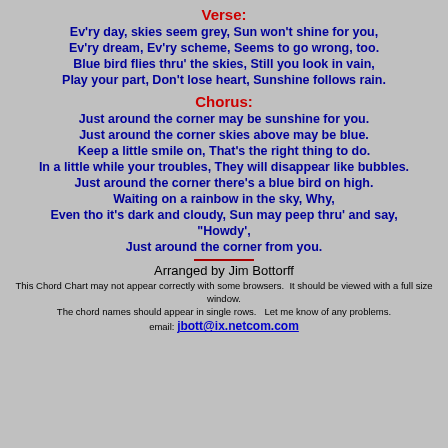Verse:
Ev'ry day, skies seem grey, Sun won't shine for you,
Ev'ry dream, Ev'ry scheme, Seems to go wrong, too.
Blue bird flies thru' the skies, Still you look in vain,
Play your part, Don't lose heart, Sunshine follows rain.
Chorus:
Just around the corner may be sunshine for you.
Just around the corner skies above may be blue.
Keep a little smile on, That's the right thing to do.
In a little while your troubles, They will disappear like bubbles.
Just around the corner there's a blue bird on high.
Waiting on a rainbow in the sky, Why,
Even tho it's dark and cloudy, Sun may peep thru' and say,
"Howdy',
Just around the corner from you.
Arranged by Jim Bottorff
This Chord Chart may not appear correctly with some browsers.  It should be viewed with a full size window.
The chord names should appear in single rows.   Let me know of any problems.
email: jbott@ix.netcom.com